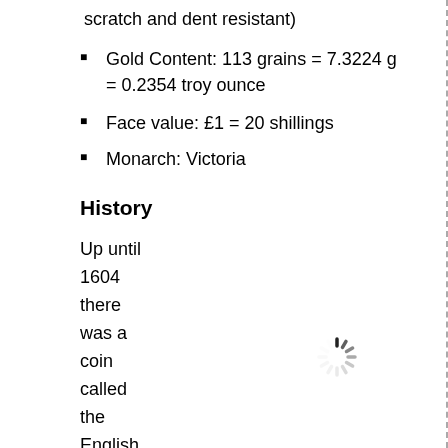scratch and dent resistant)
Gold Content: 113 grains = 7.3224 g = 0.2354 troy ounce
Face value: £1 = 20 shillings
Monarch: Victoria
History
Up until 1604 there was a coin called the English gold sovereig n and in
[Figure (other): Loading spinner icon]